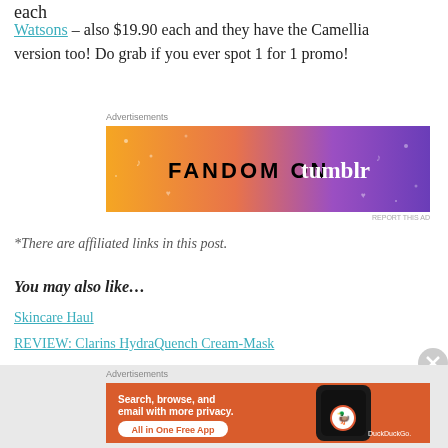each
Watsons – also $19.90 each and they have the Camellia version too! Do grab if you ever spot 1 for 1 promo!
[Figure (screenshot): Fandom on Tumblr advertisement banner with orange to purple gradient background]
*There are affiliated links in this post.
You may also like…
Skincare Haul
REVIEW: Clarins HydraQuench Cream-Mask
[Figure (screenshot): DuckDuckGo advertisement: Search, browse, and email with more privacy. All in One Free App]